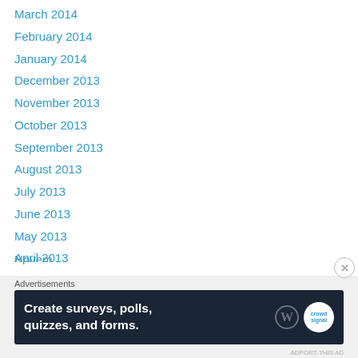March 2014
February 2014
January 2014
December 2013
November 2013
October 2013
September 2013
August 2013
July 2013
June 2013
May 2013
April 2013
March 2013
February 2013
January 2013
December 2012
November 2012 (partial)
Advertisements
[Figure (other): Advertisement banner: Create surveys, polls, quizzes, and forms. WordPress and Crowdsignal logos.]